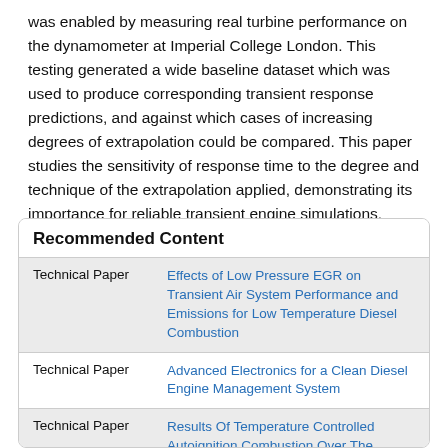was enabled by measuring real turbine performance on the dynamometer at Imperial College London. This testing generated a wide baseline dataset which was used to produce corresponding transient response predictions, and against which cases of increasing degrees of extrapolation could be compared. This paper studies the sensitivity of response time to the degree and technique of the extrapolation applied, demonstrating its importance for reliable transient engine simulations.
Recommended Content
| Type | Title |
| --- | --- |
| Technical Paper | Effects of Low Pressure EGR on Transient Air System Performance and Emissions for Low Temperature Diesel Combustion |
| Technical Paper | Advanced Electronics for a Clean Diesel Engine Management System |
| Technical Paper | Results Of Temperature Controlled Autoignition Combustion Over The Hydrocarbons Emissions And Fuel Consumption At Light Loads In A 50 |